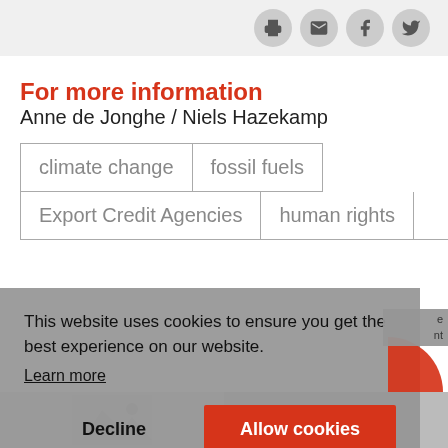For more information
Anne de Jonghe / Niels Hazekamp
climate change  fossil fuels  Export Credit Agencies  human rights
This website uses cookies to ensure you get the best experience on our website.
Learn more
Decline  Allow cookies